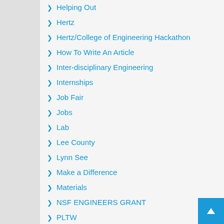Helping Out
Hertz
Hertz/College of Engineering Hackathon
How To Write An Article
Inter-disciplinary Engineering
Internships
Job Fair
Jobs
Lab
Lee County
Lynn See
Make a Difference
Materials
NSF ENGINEERS GRANT
PLTW
People in Need
Programming
Project Lead The Way
Renewable Energy
Richard Behr
SPICE
STEM SCHOLARS YEAR-END CHALLENGE